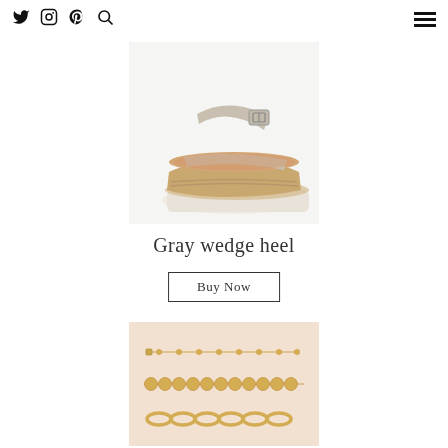Twitter Instagram Pinterest Search [hamburger menu]
[Figure (photo): Gray wedge heel espadrille sandal with ankle strap and buckle, on white background]
Gray wedge heel
Buy Now
[Figure (photo): Three gold chain bracelets displayed on a blush/pink background: a delicate ball chain, a chunky beaded chain, and a large link chain]